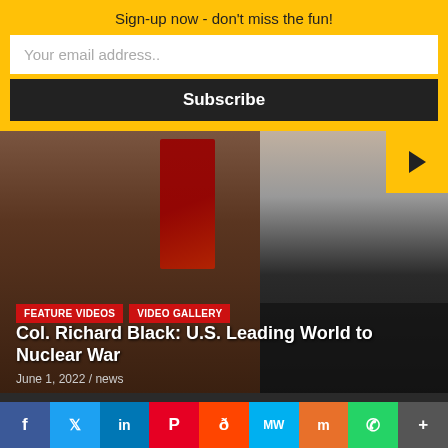Sign-up now - don't miss the fun!
Your email address..
Subscribe
[Figure (photo): Video thumbnail showing Col. Richard Black, an older man, with a red US Marine Corps flag in the background on the left side and an office setting on the right side. Yellow play button in top right corner.]
FEATURE VIDEOS
VIDEO GALLERY
Col. Richard Black: U.S. Leading World to Nuclear War
June 1, 2022 / news
ISLAM & MUSLIMS
f  Twitter  in  Pinterest  Reddit  MW  Mix  WhatsApp  More